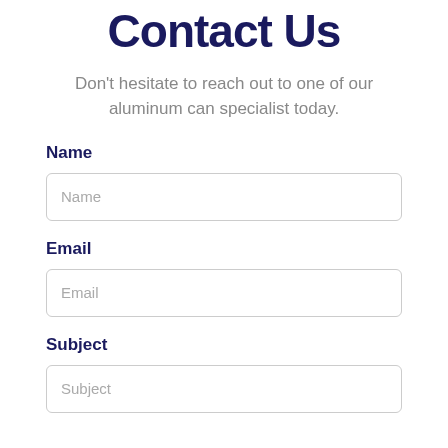Contact Us
Don't hesitate to reach out to one of our aluminum can specialist today.
Name
Name (placeholder)
Email
Email (placeholder)
Subject
Subject (placeholder)